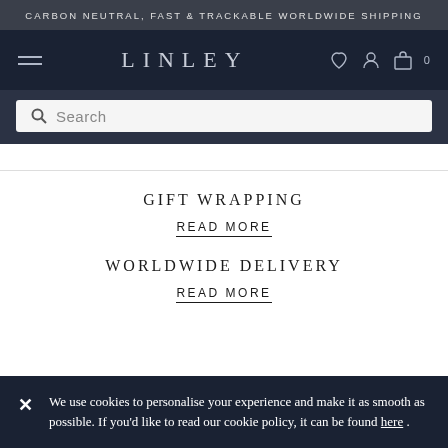CARBON NEUTRAL, FAST & TRACKABLE WORLDWIDE SHIPPING
LINLEY
Search
GIFT WRAPPING
READ MORE
WORLDWIDE DELIVERY
READ MORE
We use cookies to personalise your experience and make it as smooth as possible. If you'd like to read our cookie policy, it can be found here .